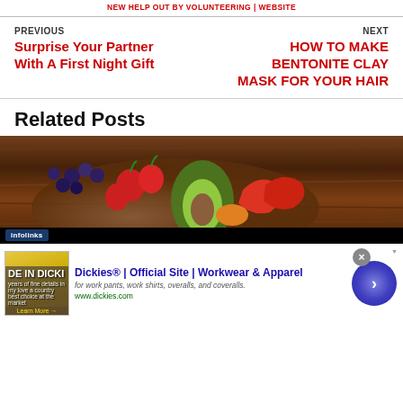NEW HELP OUT BY VOLUNTEERING | WEBSITE
PREVIOUS
Surprise Your Partner With A First Night Gift
NEXT
HOW TO MAKE BENTONITE CLAY MASK FOR YOUR HAIR
Related Posts
[Figure (photo): A wooden bowl filled with colorful fresh fruits including blueberries, strawberries, avocado, peppers on a wooden table background. An infolinks ad bar appears at the bottom.]
[Figure (screenshot): Advertisement overlay: Dickies official site workwear and apparel ad with image of DE IN DICKI text, ad title, description, URL www.dickies.com, close button X, and circular blue arrow button.]